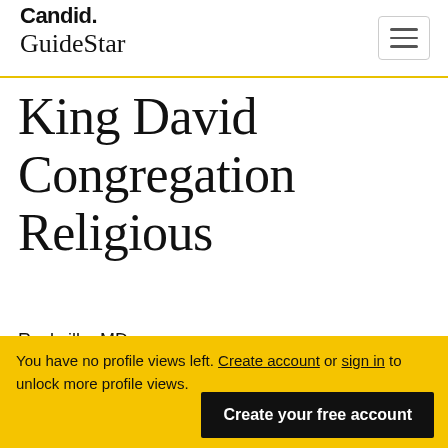Candid. GuideStar
King David Congregation Religious
Rockville, MD
You have no profile views left. Create account or sign in to unlock more profile views. Create your free account